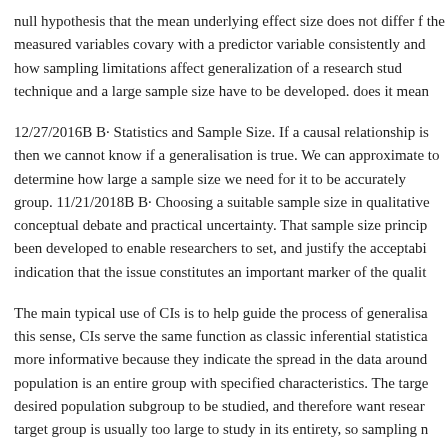null hypothesis that the mean underlying effect size does not differ f the measured variables covary with a predictor variable consistently and how sampling limitations affect generalization of a research stu technique and a large sample size have to be developed. does it mea
12/27/2016B B· Statistics and Sample Size. If a causal relationship i then we cannot know if a generalisation is true. We can approximate to determine how large a sample size we need for it to be accurately group. 11/21/2018B B· Choosing a suitable sample size in qualitative conceptual debate and practical uncertainty. That sample size princip been developed to enable researchers to set, and justify the acceptab indication that the issue constitutes an important marker of the quali
The main typical use of CIs is to help guide the process of generalisa this sense, CIs serve the same function as classic inferential statistica more informative because they indicate the spread in the data around population is an entire group with specified characteristics. The targe desired population subgroup to be studied, and therefore want resear target group is usually too large to study in its entirety, so sampling n